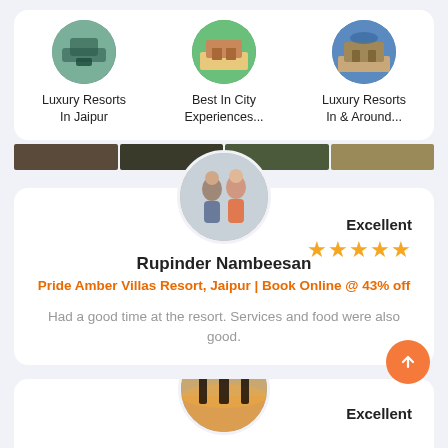[Figure (screenshot): Three circular category images with labels: Luxury Resorts In Jaipur, Best In City Experiences..., Luxury Resorts In & Around...]
[Figure (photo): Image strip showing partial hotel/resort photos]
[Figure (photo): Circular avatar of two travelers (Rupinder Nambeesan)]
Excellent
★★★★★
Rupinder Nambeesan
Pride Amber Villas Resort, Jaipur | Book Online @ 43% off
Had a good time at the resort. Services and food were also good.
[Figure (photo): Circular avatar of silhouetted people at sunset]
Excellent